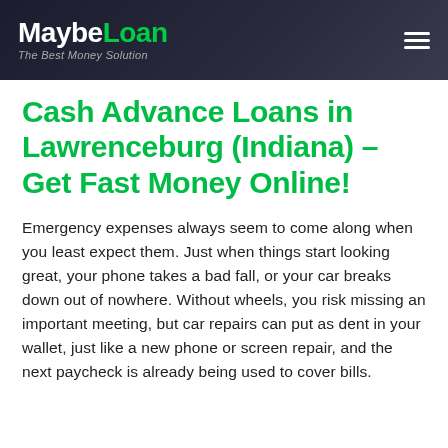MaybeLoan – The Best Money Solution
Cash Advance Loans in Lawrenceburg (Indiana) – Get Fast Money Online!
Emergency expenses always seem to come along when you least expect them. Just when things start looking great, your phone takes a bad fall, or your car breaks down out of nowhere. Without wheels, you risk missing an important meeting, but car repairs can put as dent in your wallet, just like a new phone or screen repair, and the next paycheck is already being used to cover bills.